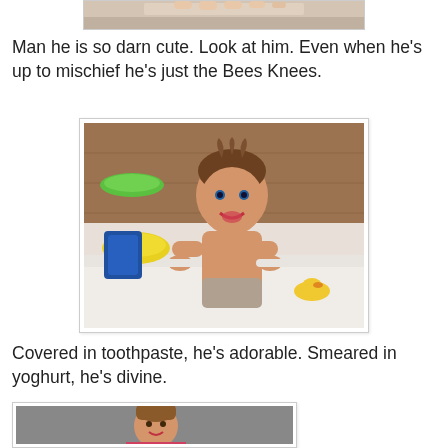[Figure (photo): Partial top portion of a photo visible at the top of the page, cropped.]
Man he is so darn cute. Look at him. Even when he's up to mischief he's just the Bees Knees.
[Figure (photo): A young toddler boy with messy hair climbing on the edge of a bathtub, smiling at the camera. Bathtub toys visible including yellow and green items. Wooden wall paneling in background.]
Covered in toothpaste, he's adorable. Smeared in yoghurt, he's divine.
[Figure (photo): Bottom portion of a photo showing a young child standing outdoors on asphalt, wearing a striped shirt, partially cropped at bottom of page.]